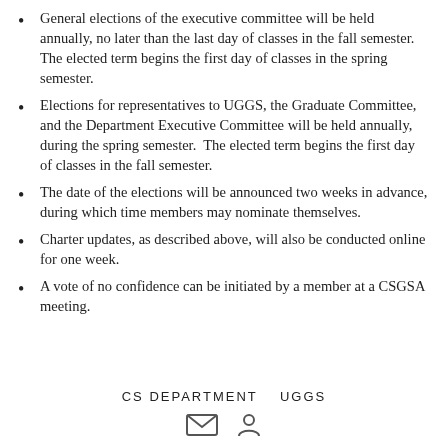General elections of the executive committee will be held annually, no later than the last day of classes in the fall semester. The elected term begins the first day of classes in the spring semester.
Elections for representatives to UGGS, the Graduate Committee, and the Department Executive Committee will be held annually, during the spring semester.  The elected term begins the first day of classes in the fall semester.
The date of the elections will be announced two weeks in advance, during which time members may nominate themselves.
Charter updates, as described above, will also be conducted online for one week.
A vote of no confidence can be initiated by a member at a CSGSA meeting.
CS DEPARTMENT   UGGS